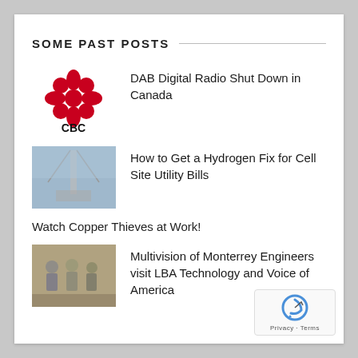SOME PAST POSTS
[Figure (logo): CBC logo - red gem/jewel design with CBC text below]
DAB Digital Radio Shut Down in Canada
[Figure (photo): Photo of a cell site tower/structure]
How to Get a Hydrogen Fix for Cell Site Utility Bills
Watch Copper Thieves at Work!
[Figure (photo): Photo of a group of engineers visiting]
Multivision of Monterrey Engineers visit LBA Technology and Voice of America